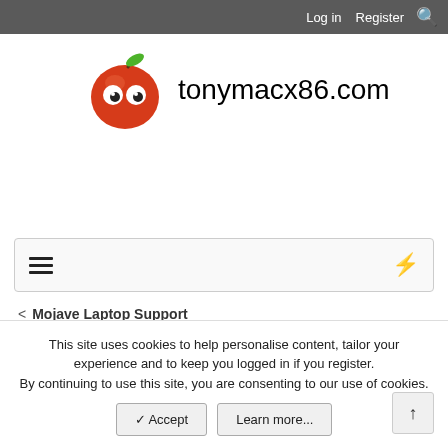Log in  Register  🔍
[Figure (logo): tonymacx86.com logo: red apple cartoon with googly eyes and a green leaf, followed by the text 'tonymacx86.com']
≡  ⚡
< Mojave Laptop Support
[Guide] USB power property injection for Sierra (and later)
This site uses cookies to help personalise content, tailor your experience and to keep you logged in if you register.
By continuing to use this site, you are consenting to our use of cookies.
✓ Accept   Learn more...